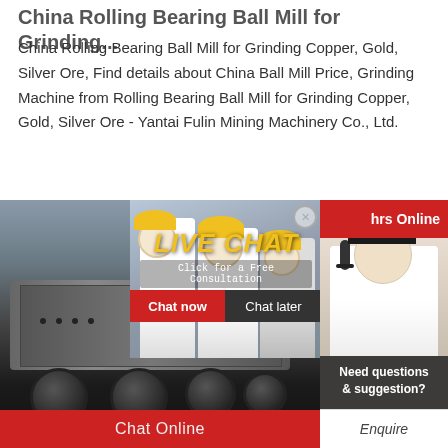China Rolling Bearing Ball Mill for Grinding...
China Rolling Bearing Ball Mill for Grinding Copper, Gold, Silver Ore, Find details about China Ball Mill Price, Grinding Machine from Rolling Bearing Ball Mill for Grinding Copper, Gold, Silver Ore - Yantai Fulin Mining Machinery Co., Ltd.
[Figure (photo): Industrial ball mill machine on a truck with live chat overlay showing workers in yellow hard hats. Overlay text: LIVE CHAT, Click for a Free Consultation, Chat now, Chat later. Right panel shows a customer service representative and text: hrs Online, Need questions & suggestion?, Chat Now. Bottom bar: Chat Online. Partial text at bottom right: Enquire.]